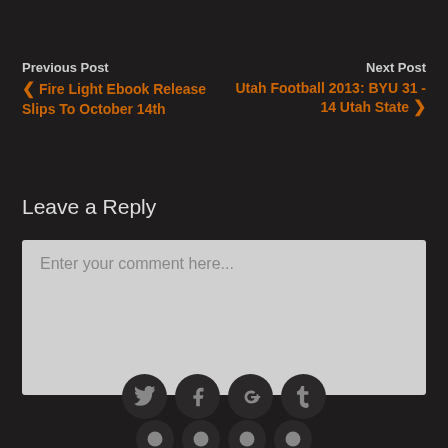Previous Post
‹ Fire Light Ebook Release Slips To October 14th
Next Post
Utah Football 2013: BYU 31 - 14 Utah State ›
Leave a Reply
Enter your comment here...
[Figure (infographic): Social media icon buttons: Twitter, Facebook, Google+, Tumblr in dark circles]
[Figure (infographic): Additional social media icon buttons partially visible at bottom]